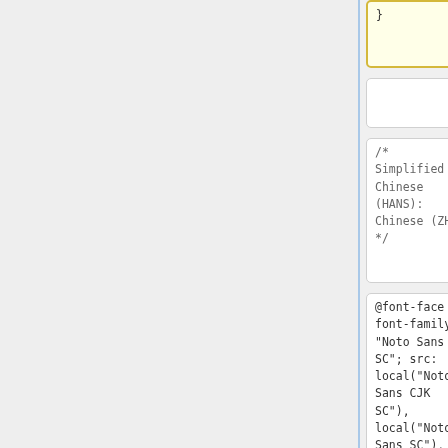}
/* Simplified Chinese (HANS): Chinese (ZH) */
/* Simplified Chinese (HANS): Chinese (ZH) */
@font-face { font-family: "Noto Sans SC"; src: local("Noto Sans CJK SC"), local("Noto Sans SC"), url("/fonts/google/NotoSansSC
@font-face { font-family: "Noto Sans SC"; src: local("Noto Sans CJK SC"), local("Noto Sans SC"), url("/fonts/google/NotoSansSC